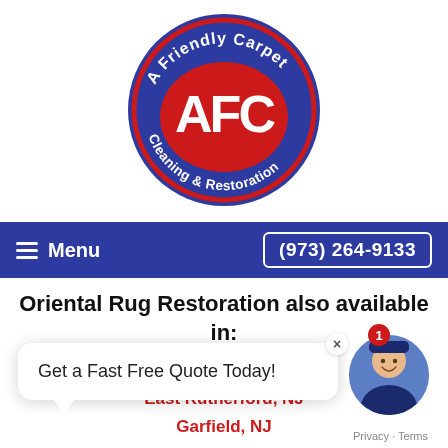[Figure (logo): A Friendly Carpet Cleaning & Restoration oval logo with red and dark blue colors, large AFC letters in center]
≡ Menu   (973) 264-9133
Oriental Rug Restoration also available in:
Carlstadt, NJ
East Rutherford, NJ
Garfield, NJ
Hasbrouck Heights, NJ
Moonachie, NJ
Rutherford, NJ
Get a Fast Free Quote Today!